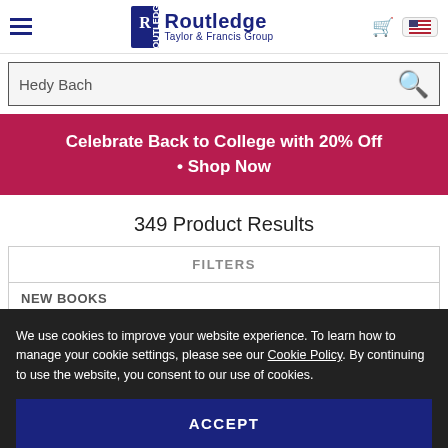Routledge Taylor & Francis Group
Hedy Bach
[Figure (infographic): Red promotional banner: Celebrate Back to College with 20% Off • Shop Now]
349 Product Results
FILTERS
NEW BOOKS
We use cookies to improve your website experience. To learn how to manage your cookie settings, please see our Cookie Policy. By continuing to use the website, you consent to our use of cookies.
ACCEPT